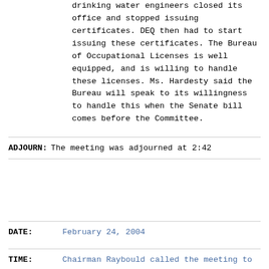drinking water engineers closed its office and stopped issuing certificates. DEQ then had to start issuing these certificates. The Bureau of Occupational Licenses is well equipped, and is willing to handle these licenses. Ms. Hardesty said the Bureau will speak to its willingness to handle this when the Senate bill comes before the Committee.
ADJOURN: The meeting was adjourned at 2:42
DATE: February 24, 2004
TIME: Chairman Raybould called the meeting to